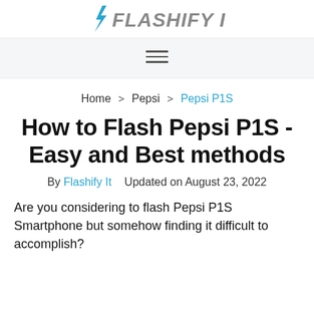Flashify It
Home > Pepsi > Pepsi P1S
How to Flash Pepsi P1S - Easy and Best methods
By Flashify It   Updated on August 23, 2022
Are you considering to flash Pepsi P1S Smartphone but somehow finding it difficult to accomplish?